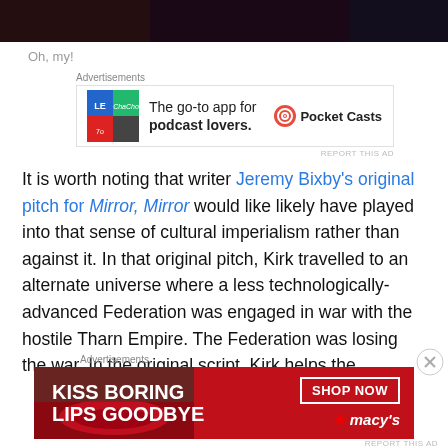[Figure (photo): Dark photo strip at top of page showing partial image]
Oh, my!
[Figure (infographic): Advertisement for Pocket Casts: The go-to app for podcast lovers.]
It is worth noting that writer Jeremy Bixby's original pitch for Mirror, Mirror would like likely have played into that sense of cultural imperialism rather than against it. In that original pitch, Kirk travelled to an alternate universe where a less technologically-advanced Federation was engaged in war with the hostile Tharn Empire. The Federation was losing the war. In the original script, Kirk helps the
[Figure (infographic): Advertisement for Macy's: KISS BORING LIPS GOODBYE — SHOP NOW]